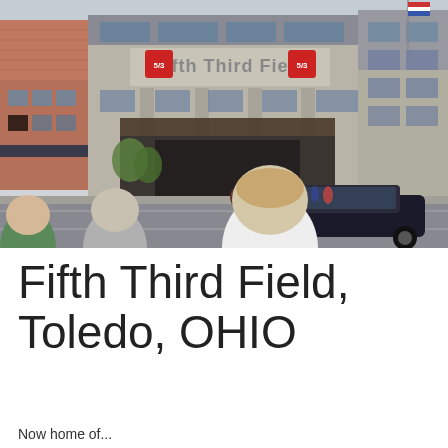[Figure (photo): Exterior photo of Fifth Third Field baseball stadium in Toledo, Ohio. People stand in the foreground with their backs to the camera viewing the stadium entrance. A dark sedan drives past on the street. The stadium facade shows the 'Fifth Third Field' sign and brick and stone architecture.]
Fifth Third Field, Toledo, OHIO
Now home of...